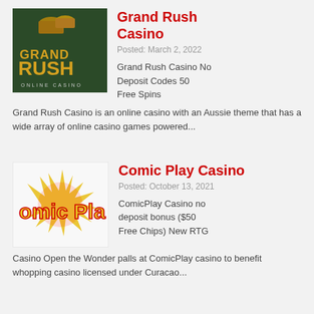[Figure (logo): Grand Rush Casino logo - dark green background with gold text reading GRAND RUSH and subtitle ONLINE CASINO]
Grand Rush Casino
Posted: March 2, 2022
Grand Rush Casino No Deposit Codes 50 Free Spins Grand Rush Casino is an online casino with an Aussie theme that has a wide array of online casino games powered...
[Figure (logo): Comic Play Casino logo - white background with colorful Comic Play text and explosion graphic]
Comic Play Casino
Posted: October 13, 2021
ComicPlay Casino no deposit bonus ($50 Free Chips) New RTG Casino Open the Wonder palls at ComicPlay casino to benefit whopping casino licensed under Curacao...